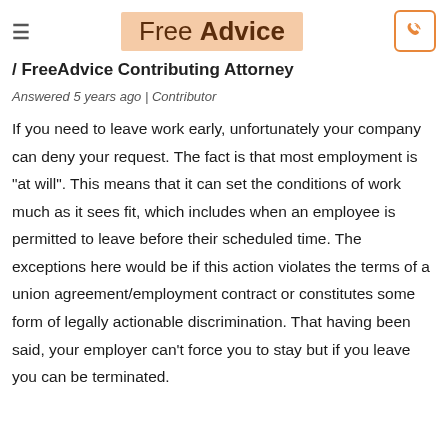Free Advice
/ FreeAdvice Contributing Attorney
Answered 5 years ago | Contributor
If you need to leave work early, unfortunately your company can deny your request. The fact is that most employment is "at will". This means that it can set the conditions of work much as it sees fit, which includes when an employee is permitted to leave before their scheduled time. The exceptions here would be if this action violates the terms of a union agreement/employment contract or constitutes some form of legally actionable discrimination. That having been said, your employer can't force you to stay but if you leave you can be terminated.